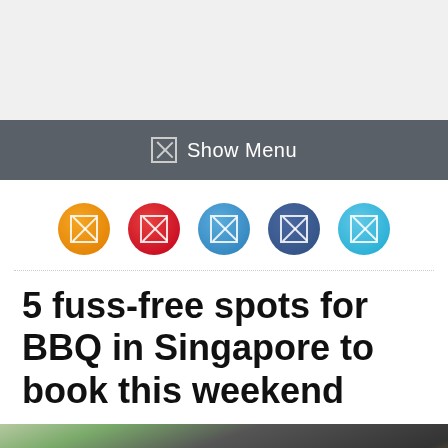Show Menu
[Figure (other): Row of 5 social media icon circles in orange, red, blue, dark blue, and light blue colors]
5 fuss-free spots for BBQ in Singapore to book this weekend
[Figure (photo): Photo of BBQ grilling with smoke and food on grill grates]